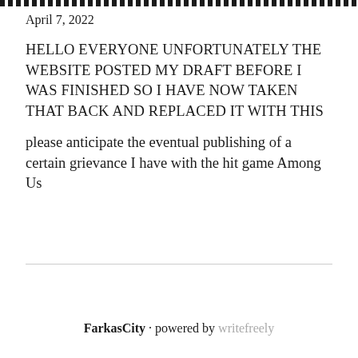▲▲▲▲▲▲▲▲▲▲▲▲▲▲▲▲▲▲▲▲▲▲▲▲▲▲▲▲▲▲▲▲▲▲▲▲▲▲▲▲▲▲▲▲▲▲▲▲▲▲▲
April 7, 2022
HELLO EVERYONE UNFORTUNATELY THE WEBSITE POSTED MY DRAFT BEFORE I WAS FINISHED SO I HAVE NOW TAKEN THAT BACK AND REPLACED IT WITH THIS
please anticipate the eventual publishing of a certain grievance I have with the hit game Among Us
FarkasCity · powered by writefreely